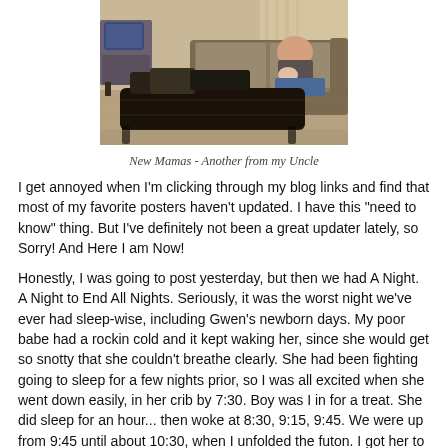[Figure (photo): Indoor hotel or living room scene with a couch, coffee table covered with bags, and a person sitting on the couch holding a baby]
New Mamas - Another from my Uncle
I get annoyed when I'm clicking through my blog links and find that most of my favorite posters haven't updated. I have this "need to know" thing. But I've definitely not been a great updater lately, so Sorry! And Here I am Now!
Honestly, I was going to post yesterday, but then we had A Night. A Night to End All Nights. Seriously, it was the worst night we've ever had sleep-wise, including Gwen's newborn days. My poor babe had a rockin cold and it kept waking her, since she would get so snotty that she couldn't breathe clearly. She had been fighting going to sleep for a few nights prior, so I was all excited when she went down easily, in her crib by 7:30. Boy was I in for a treat. She did sleep for an hour... then woke at 8:30, 9:15, 9:45. We were up from 9:45 until about 10:30, when I unfolded the futon. I got her to